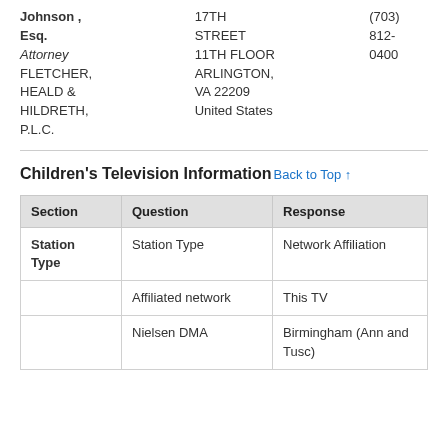|  |  |  |
| --- | --- | --- |
| Johnson ,
Esq.
Attorney
FLETCHER,
HEALD &
HILDRETH,
P.L.C. | 17TH
STREET
11TH FLOOR
ARLINGTON,
VA 22209
United States | (703)
812-
0400 |
Children's Television Information
Back to Top ↑
| Section | Question | Response |
| --- | --- | --- |
| Station Type | Station Type | Network Affiliation |
|  | Affiliated network | This TV |
|  | Nielsen DMA | Birmingham (Ann and Tusc) |